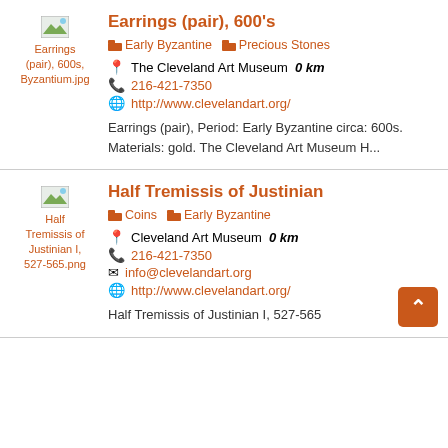[Figure (other): Thumbnail placeholder for Earrings (pair), 600s, Byzantium.jpg]
Earrings (pair), 600's
Early Byzantine
Precious Stones
The Cleveland Art Museum  0 km
216-421-7350
http://www.clevelandart.org/
Earrings (pair), Period: Early Byzantine circa: 600s. Materials: gold. The Cleveland Art Museum H...
[Figure (other): Thumbnail placeholder for Half Tremissis of Justinian I, 527-565.png]
Half Tremissis of Justinian
Coins
Early Byzantine
Cleveland Art Museum  0 km
216-421-7350
info@clevelandart.org
http://www.clevelandart.org/
Half Tremissis of Justinian I, 527-565